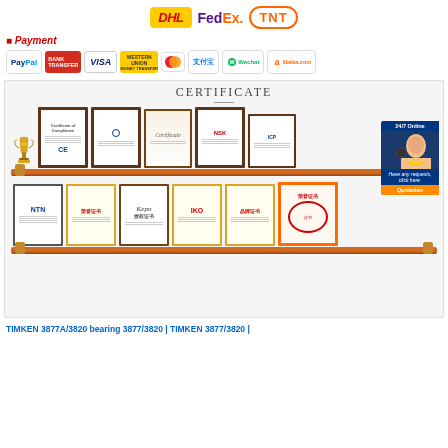[Figure (logo): DHL, FedEx, TNT shipping company logos in a row]
Payment
[Figure (logo): Payment method logos: PayPal, Bank Transfer, VISA, Western Union, MasterCard, Alipay, Wechat, Alibaba.com]
[Figure (photo): Certificate section showing two shelves of framed certificates and awards including trophy, NTN, Kepo, IKO brand certificates and a customer service representative overlay in the top right]
TIMKEN 3877A/3820 bearing 3877/3820 | TIMKEN 3877/3820 |